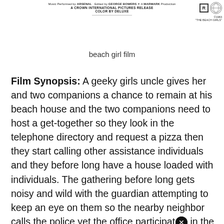[Figure (other): Movie poster header area for 'The Beach Girls' film — shows credits line: Music Performed by ARSENAL, Edited by GEORGE BOWERS, A MARMARK Production, A CROWN INTERNATIONAL PICTURES RELEASE, COLOR BY DELUXE, with R rating box and logos on right, and 'THE BEACH GIRLS' text.]
beach girl film
Film Synopsis: A geeky girls uncle gives her and two companions a chance to remain at his beach house and the two companions need to host a get-together so they look in the telephone directory and request a pizza then they start calling other assistance individuals and they before long have a house loaded with individuals. The gathering before long gets noisy and wild with the guardian attempting to keep an eye on them so the nearby neighbor calls the police yet the office participate in the good times. At that point when one of her companions calls an alcohol store to have them